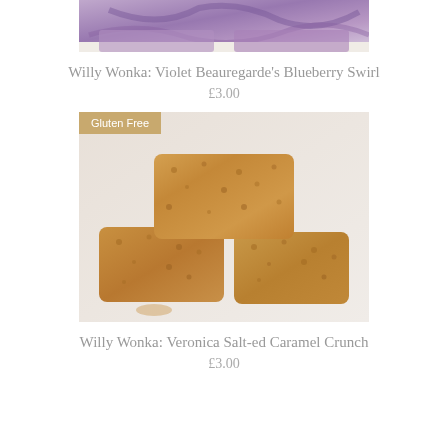[Figure (photo): Partial top view of purple/blueberry swirl fudge pieces on white background]
Willy Wonka: Violet Beauregarde's Blueberry Swirl
£3.00
[Figure (photo): Three golden caramel crunch fudge blocks stacked on white background with 'Gluten Free' badge]
Willy Wonka: Veronica Salt-ed Caramel Crunch
£3.00